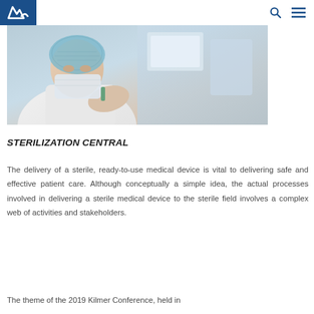Logo and navigation header with search and menu icons
[Figure (photo): Medical professional wearing surgical mask, hair net, and white coat in a clinical/sterile environment]
STERILIZATION CENTRAL
The delivery of a sterile, ready-to-use medical device is vital to delivering safe and effective patient care. Although conceptually a simple idea, the actual processes involved in delivering a sterile medical device to the sterile field involves a complex web of activities and stakeholders.
The theme of the 2019 Kilmer Conference, held in